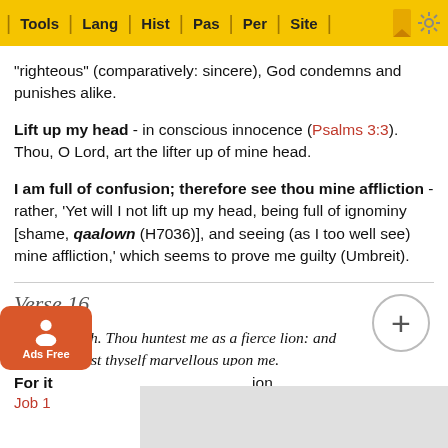Tools | Lang | Hist | Pas | Per | Site
"righteous" (comparatively: sincere), God condemns and punishes alike.
Lift up my head - in conscious innocence (Psalms 3:3). Thou, O Lord, art the lifter up of mine head.
I am full of confusion; therefore see thou mine affliction - rather, 'Yet will I not lift up my head, being full of ignominy [shame, qaalown (H7036)], and seeing (as I too well see) mine affliction,' which seems to prove me guilty (Umbreit).
Verse 16
...t increaseth. Thou huntest me as a fierce lion: and again shewest thyself marvellous upon me.
For it ... ion, Job 10 ... e